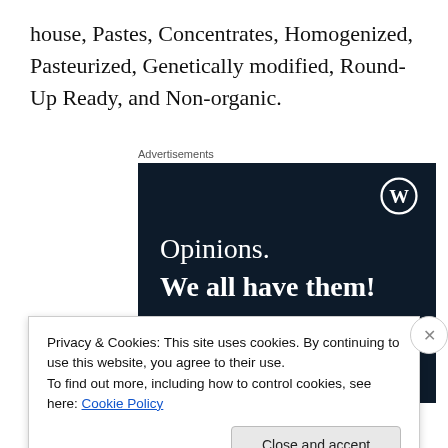house, Pastes, Concentrates, Homogenized, Pasteurized, Genetically modified, Round-Up Ready, and Non-organic.
Advertisements
[Figure (screenshot): WordPress advertisement banner with dark navy background. Shows WordPress logo (W in circle) top right. Text reads 'Opinions. We all have them!' in white serif font. Pink/magenta button at bottom left, white circle at bottom right.]
Privacy & Cookies: This site uses cookies. By continuing to use this website, you agree to their use.
To find out more, including how to control cookies, see here: Cookie Policy
Close and accept